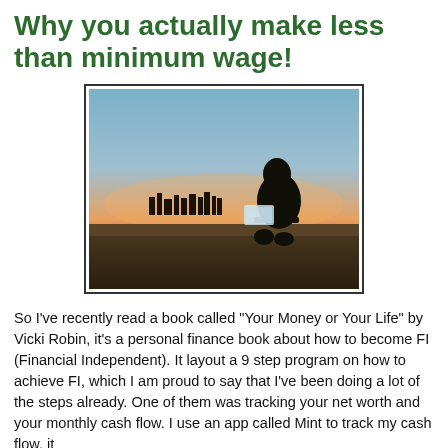Why you actually make less than minimum wage!
[Figure (photo): A person sitting on a ledge or rooftop at dusk/sunset, working on a laptop, with a city skyline visible in the background. The silhouette is dark against an orange and blue gradient sky.]
So I've recently read a book called "Your Money or Your Life" by Vicki Robin, it's a personal finance book about how to become FI (Financial Independent). It layout a 9 step program on how to achieve FI, which I am proud to say that I've been doing a lot of the steps already. One of them was tracking your net worth and your monthly cash flow. I use an app called Mint to track my cash flow, it